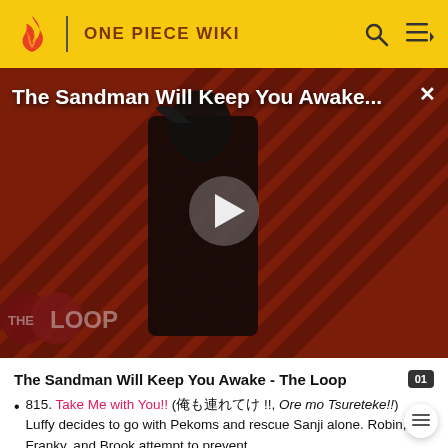ONE PIECE WIKI
[Figure (screenshot): Video advertisement banner with dark diagonal striped background showing a figure in black costume with a crow, overlaid with text 'The Sandman Will Keep You Awake...' and a play button. 'THE LOOP' logo visible at bottom left.]
The Sandman Will Keep You Awake - The Loop
815. Take Me with You!! (俺も連れてけ !!, Ore mo Tsureteke!!」））, Luffy decides to go with Pekoms and rescue Sanji alone. Robin, Franky, and Brook attempt to prevent the samurai from getting to Zou, but they fall asleep